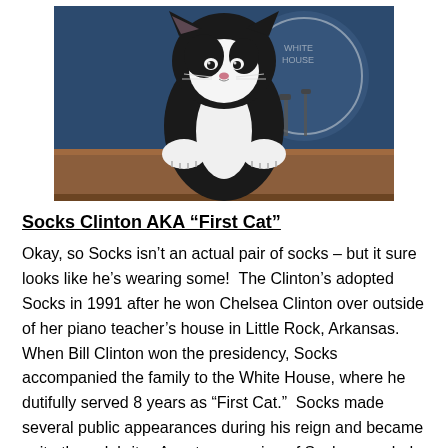[Figure (photo): Black and white tuxedo cat with paws up on a wooden podium ledge, in front of what appears to be a White House press briefing room seal and microphones in the background.]
Socks Clinton AKA “First Cat”
Okay, so Socks isn’t an actual pair of socks – but it sure looks like he’s wearing some!  The Clinton’s adopted Socks in 1991 after he won Chelsea Clinton over outside of her piano teacher’s house in Little Rock, Arkansas.  When Bill Clinton won the presidency, Socks accompanied the family to the White House, where he dutifully served 8 years as “First Cat.”  Socks made several public appearances during his reign and became quite the celebrity.  A cartoon version of Socks even led visiting children on a tour of the White House during the Clinton